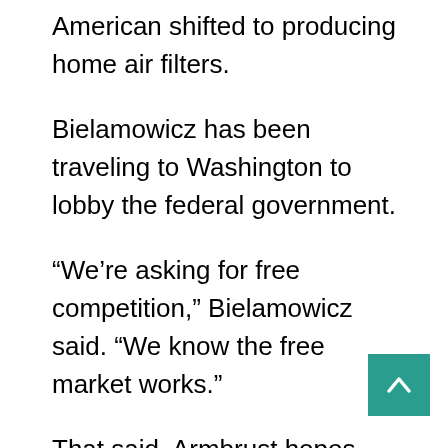American shifted to producing home air filters.
Bielamowicz has been traveling to Washington to lobby the federal government.
“We’re asking for free competition,” Bielamowicz said. “We know the free market works.”
That said, Armbrust hopes the government can subsidize small companies that make masks, as it does farmers, to preserve production capability so that when the next